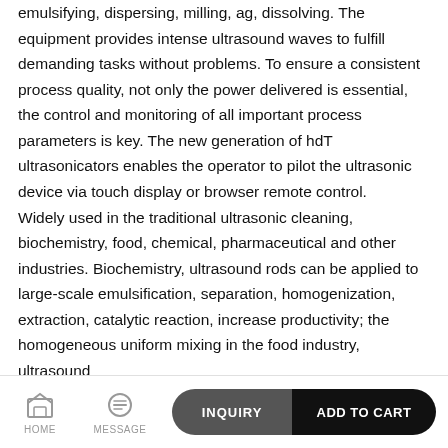emulsifying, dispersing, milling, ag, dissolving. The equipment provides intense ultrasound waves to fulfill demanding tasks without problems. To ensure a consistent process quality, not only the power delivered is essential, the control and monitoring of all important process parameters is key. The new generation of hdT ultrasonicators enables the operator to pilot the ultrasonic device via touch display or browser remote control. Widely used in the traditional ultrasonic cleaning, biochemistry, food, chemical, pharmaceutical and other industries. Biochemistry, ultrasound rods can be applied to large-scale emulsification, separation, homogenization, extraction, catalytic reaction, increase productivity; the homogeneous uniform mixing in the food industry, ultrasound
HOME | MESSAGE | INQUIRY | ADD TO CART